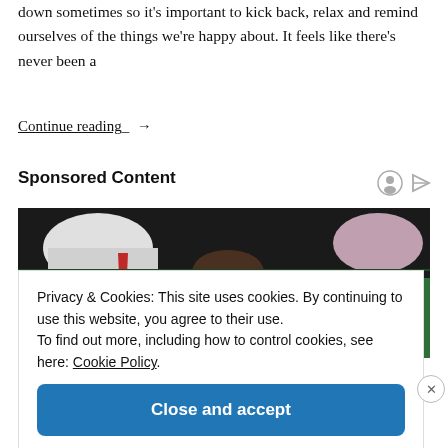down sometimes so it's important to kick back, relax and remind ourselves of the things we're happy about. It feels like there's never been a
Continue reading →
Sponsored Content
[Figure (photo): People at a casino table, overhead view showing green felt table and players leaning over]
Privacy & Cookies: This site uses cookies. By continuing to use this website, you agree to their use.
To find out more, including how to control cookies, see here: Cookie Policy
Close and accept